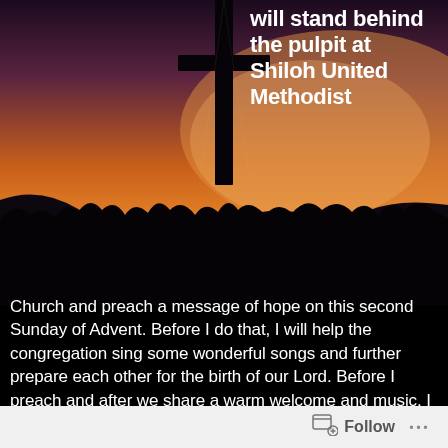[Figure (photo): Silhouette of a cross against a dramatic orange and purple sunset sky, with dark grass or shrubs in the foreground.]
will stand behind the pulpit at Shiloh United Methodist Church and preach a message of hope on this second Sunday of Advent. Before I do that, I will help the congregation sing some wonderful songs and further prepare each other for the birth of our Lord. Before I preach and after we share a warm welcome and music, I will share prayer concerns. I will, yet again, ask the saints of Shiloh to join me in praying in the aftermath of yet more mass violence and domestic terrorism.

I am not looking forward to having to do that yet again. Quite frankly, I'm tired of having to ask people
Follow